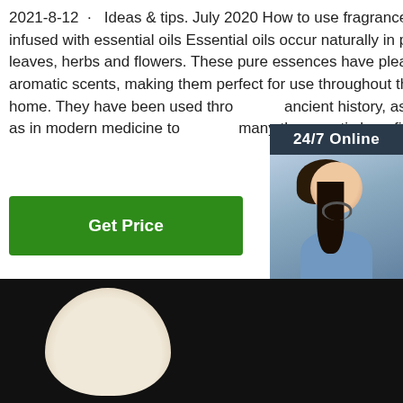2021-8-12 · Ideas & tips. July 2020 How to use fragrances infused with essential oils Essential oils occur naturally in plants, leaves, herbs and flowers. These pure essences have pleasant aromatic scents, making them perfect for use throughout the home. They have been used throughout ancient history, as well as in modern medicine to provide many therapeutic benefits.
[Figure (other): Green 'Get Price' button]
[Figure (other): Side widget with 24/7 Online chat support agent photo, 'Click here for free chat!' text, and orange QUOTATION button]
[Figure (photo): Dark background photo showing a pale/white elongated oval (candle or stone) shape, with an orange TOP logo in the bottom right corner]